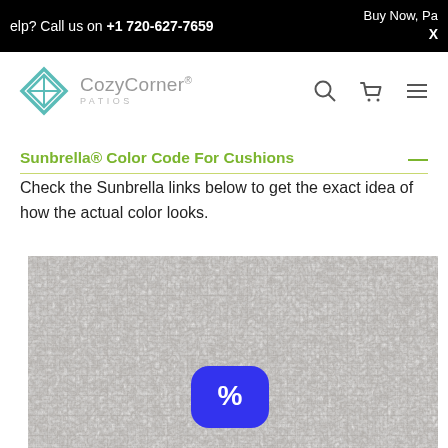elp? Call us on +1 720-627-7659 | Buy Now, Pa X
[Figure (logo): CozyCorner Patios logo with teal diamond icon]
Sunbrella® Color Code For Cushions
Check the Sunbrella links below to get the exact idea of how the actual color looks.
[Figure (photo): Close-up photo of gray/beige Sunbrella fabric texture with a blue percentage badge overlay in the center]